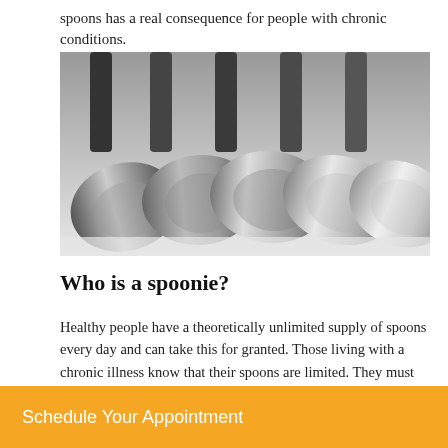spoons has a real consequence for people with chronic conditions.
[Figure (photo): Black and white close-up photograph of multiple silver spoons fanned out together, handles pointing upward, bowls resting on a white surface.]
Who is a spoonie?
Healthy people have a theoretically unlimited supply of spoons every day and can take this for granted. Those living with a chronic illness know that their spoons are limited. They must plan their day
Schedule Your Appointment